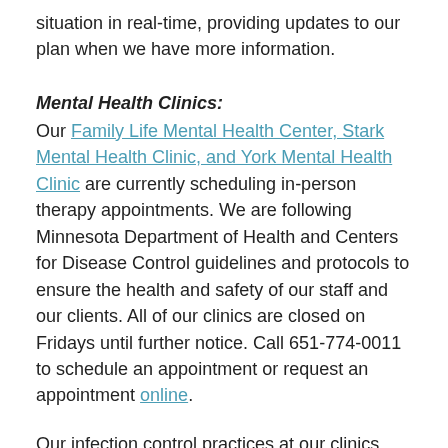situation in real-time, providing updates to our plan when we have more information.
Mental Health Clinics:
Our Family Life Mental Health Center, Stark Mental Health Clinic, and York Mental Health Clinic are currently scheduling in-person therapy appointments. We are following Minnesota Department of Health and Centers for Disease Control guidelines and protocols to ensure the health and safety of our staff and our clients. All of our clinics are closed on Fridays until further notice. Call 651-774-0011 to schedule an appointment or request an appointment online.
Our infection control practices at our clinics include:
Staff must wear masks at all times
All surfaces are sanitized several times per day,